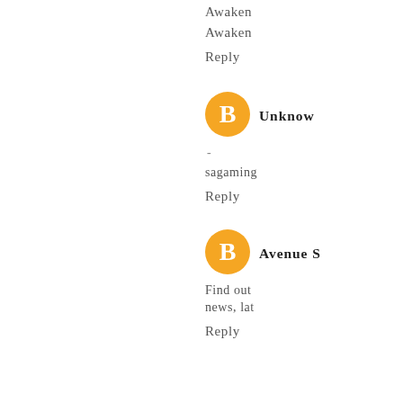Awaken
Awaken
Reply
[Figure (logo): Orange circular Blogger icon with white B letter]
Unknow
-
sagaming
Reply
[Figure (logo): Orange circular Blogger icon with white B letter]
Avenue S
Find out
news, lat
Reply